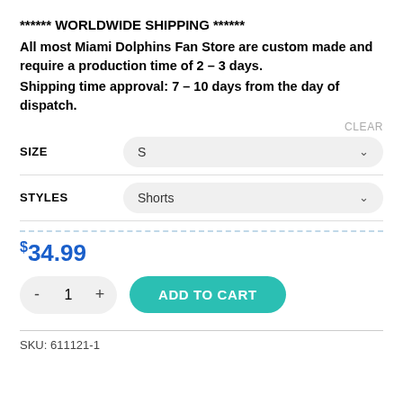****** WORLDWIDE SHIPPING ******
All most Miami Dolphins Fan Store are custom made and require a production time of 2 – 3 days. Shipping time approval: 7 – 10 days from the day of dispatch.
CLEAR
SIZE  S
STYLES  Shorts
$34.99
- 1 + ADD TO CART
SKU: 611121-1